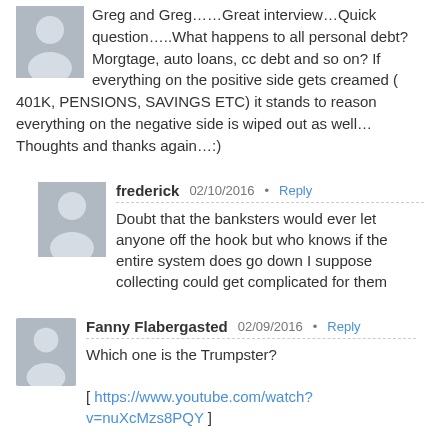Greg and Greg……Great interview…Quick question…..What happens to all personal debt? Morgtage, auto loans, cc debt and so on? If everything on the positive side gets creamed ( 401K, PENSIONS, SAVINGS ETC) it stands to reason everything on the negative side is wiped out as well…Thoughts and thanks again…:)
frederick  02/10/2016  Reply
Doubt that the banksters would ever let anyone off the hook but who knows if the entire system does go down I suppose collecting could get complicated for them
Fanny Flabergasted  02/09/2016  Reply
Which one is the Trumpster?
[ https://www.youtube.com/watch?v=nuXcMzs8PQY ]